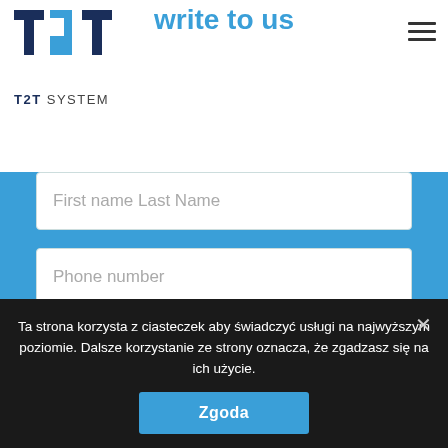write to us
[Figure (logo): T2T System logo with stylized T2T letters and text 'T2T SYSTEM' below]
First name Last Name
Phone number
Message
Ta strona korzysta z ciasteczek aby świadczyć usługi na najwyższym poziomie. Dalsze korzystanie ze strony oznacza, że zgadzasz się na ich użycie.
Zgoda